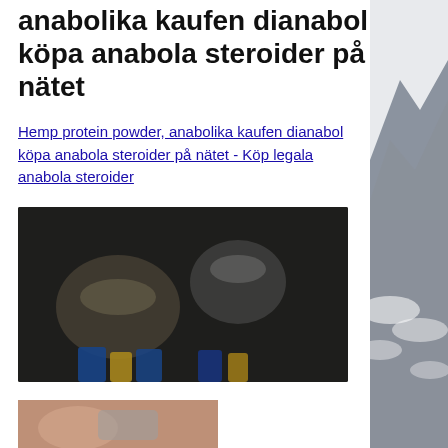anabolika kaufen dianabol köpa anabola steroider på nätet
Hemp protein powder, anabolika kaufen dianabol köpa anabola steroider på nätet - Köp legala anabola steroider
[Figure (photo): Blurred/pixelated image of supplement containers on a dark background]
[Figure (photo): Partially visible blurred image at bottom of page]
[Figure (photo): Mountain with clouds on the right side column background]